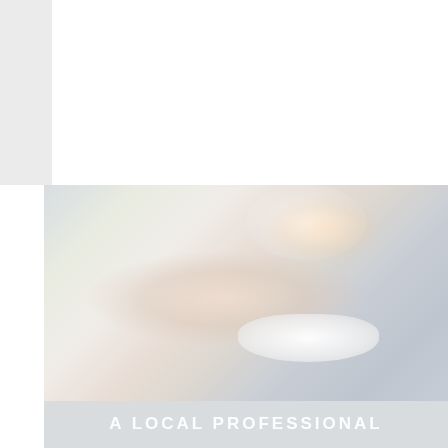[Figure (photo): A faded/washed-out photo showing hands holding what appears to be a trumpet or brass instrument, with steam and a white bowl visible. The image is very light and desaturated. At the bottom of the image area, bold white spaced-out text reads 'A LOCAL PROFESSIONAL'.]